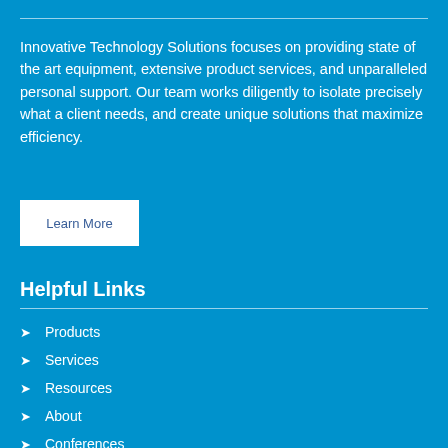Innovative Technology Solutions focuses on providing state of the art equipment, extensive product services, and unparalleled personal support. Our team works diligently to isolate precisely what a client needs, and create unique solutions that maximize efficiency.
Learn More
Helpful Links
Products
Services
Resources
About
Conferences